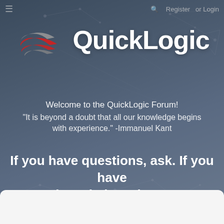≡  Register  or Login
[Figure (logo): QuickLogic logo with red and grey swoosh/arrow graphic on the left, and 'QuickLogic' text in bold white on the right, set against a dark blue-grey background with network node graphic elements]
Welcome to the QuickLogic Forum!
"It is beyond a doubt that all our knowledge begins with experience." -Immanuel Kant
If you have questions, ask. If you have knowledge, share.